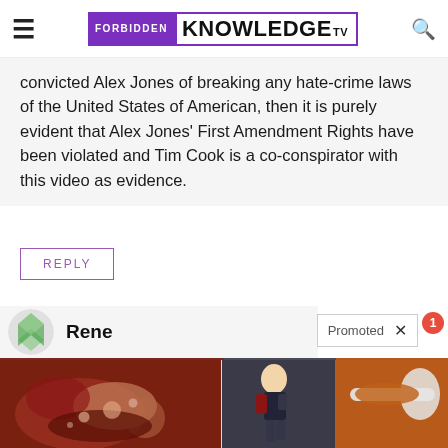FORBIDDEN KNOWLEDGE TV
convicted Alex Jones of breaking any hate-crime laws of the United States of American, then it is purely evident that Alex Jones' First Amendment Rights have been violated and Tim Cook is a co-conspirator with this video as evidence.
REPLY
Rene
Promoted
[Figure (photo): Advertisement image left: medical/anatomical illustration]
[Figure (photo): Advertisement image right: fitness woman and spice]
Why Doctors In The Know No Longer Prescribe Metformin
Watch The Video
A Teaspoon On An Empty Stomach Burns Fat Like Crazy!
Find Out More